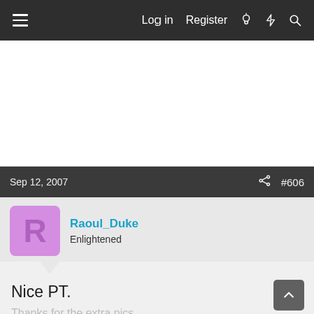Log in  Register
Sep 12, 2007  #606
Raoul_Duke
Enlightened
Nice PT.
Thanks for the extra pics.